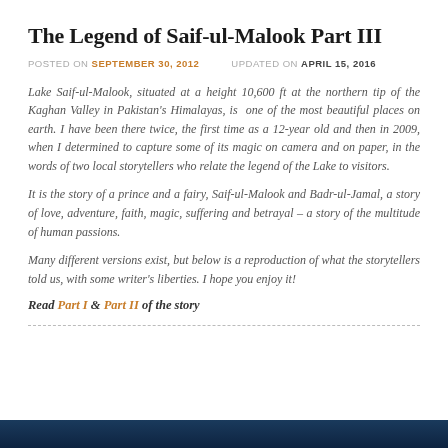The Legend of Saif-ul-Malook Part III
POSTED ON SEPTEMBER 30, 2012   UPDATED ON APRIL 15, 2016
Lake Saif-ul-Malook, situated at a height 10,600 ft at the northern tip of the Kaghan Valley in Pakistan's Himalayas, is one of the most beautiful places on earth. I have been there twice, the first time as a 12-year old and then in 2009, when I determined to capture some of its magic on camera and on paper, in the words of two local storytellers who relate the legend of the Lake to visitors.
It is the story of a prince and a fairy, Saif-ul-Malook and Badr-ul-Jamal, a story of love, adventure, faith, magic, suffering and betrayal – a story of the multitude of human passions.
Many different versions exist, but below is a reproduction of what the storytellers told us, with some writer's liberties. I hope you enjoy it!
Read Part I & Part II of the story
[Figure (photo): Dark blue image bar at the bottom of the page]